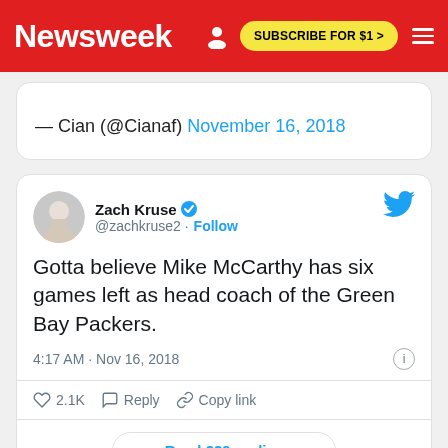Newsweek | SUBSCRIBE FOR $1 >
— Cian (@Cianaf) November 16, 2018
[Figure (screenshot): Tweet by Zach Kruse (@zachkruse2) with verified badge and Follow link. Tweet text: Gotta believe Mike McCarthy has six games left as head coach of the Green Bay Packers. Posted 4:17 AM · Nov 16, 2018. 2.1K likes. Reply. Copy link. Read 229 replies.]